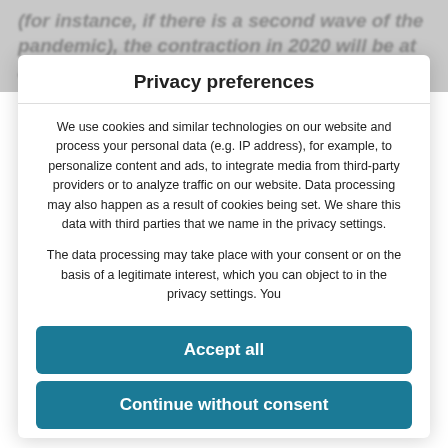(for instance, if there is a second wave of the pandemic), the contraction in 2020 will be at around
Privacy preferences
We use cookies and similar technologies on our website and process your personal data (e.g. IP address), for example, to personalize content and ads, to integrate media from third-party providers or to analyze traffic on our website. Data processing may also happen as a result of cookies being set. We share this data with third parties that we name in the privacy settings.
The data processing may take place with your consent or on the basis of a legitimate interest, which you can object to in the privacy settings. You
Accept all
Continue without consent
Set privacy settings individually
Privacy policy • Imprint
WordPress Cookie Plugin by Real Cookie Banner